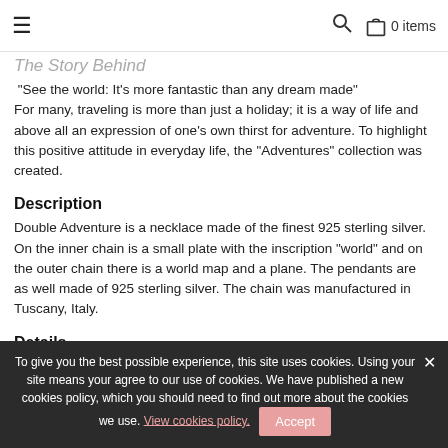≡  🔍  🛍 0 items
The Story Behind
"See the world: It's more fantastic than any dream made" For many, traveling is more than just a holiday; it is a way of life and above all an expression of one's own thirst for adventure. To highlight this positive attitude in everyday life, the "Adventures" collection was created.
Description
Double Adventure is a necklace made of the finest 925 sterling silver. On the inner chain is a small plate with the inscription "world" and on the outer chain there is a world map and a plane. The pendants are as well made of 925 sterling silver. The chain was manufactured in Tuscany, Italy.
Details
Material: 925 Sterling Silver
To give you the best possible experience, this site uses cookies. Using your site means your agree to our use of cookies. We have published a new cookies policy, which you should need to find out more about the cookies we use. View cookies policy.   Accept
Share